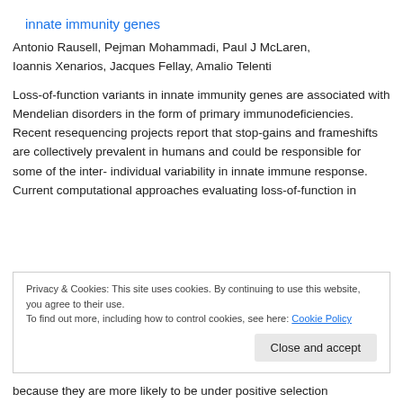innate immunity genes
Antonio Rausell, Pejman Mohammadi, Paul J McLaren, Ioannis Xenarios, Jacques Fellay, Amalio Telenti
Loss-of-function variants in innate immunity genes are associated with Mendelian disorders in the form of primary immunodeficiencies. Recent resequencing projects report that stop-gains and frameshifts are collectively prevalent in humans and could be responsible for some of the inter-individual variability in innate immune response. Current computational approaches evaluating loss-of-function in
Privacy & Cookies: This site uses cookies. By continuing to use this website, you agree to their use. To find out more, including how to control cookies, see here: Cookie Policy
because they are more likely to be under positive selection